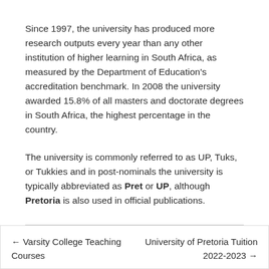Since 1997, the university has produced more research outputs every year than any other institution of higher learning in South Africa, as measured by the Department of Education's accreditation benchmark. In 2008 the university awarded 15.8% of all masters and doctorate degrees in South Africa, the highest percentage in the country.
The university is commonly referred to as UP, Tuks, or Tukkies and in post-nominals the university is typically abbreviated as Pret or UP, although Pretoria is also used in official publications.
← Varsity College Teaching Courses
University of Pretoria Tuition 2022-2023 →